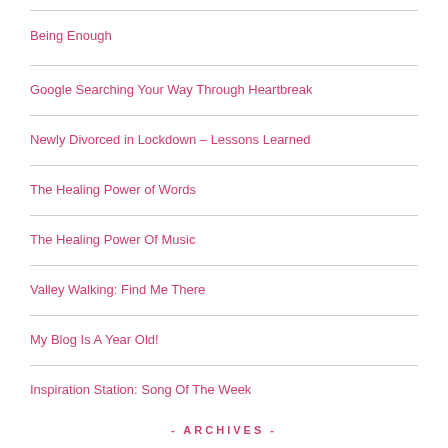Being Enough
Google Searching Your Way Through Heartbreak
Newly Divorced in Lockdown – Lessons Learned
The Healing Power of Words
The Healing Power Of Music
Valley Walking: Find Me There
My Blog Is A Year Old!
Inspiration Station: Song Of The Week
- ARCHIVES -